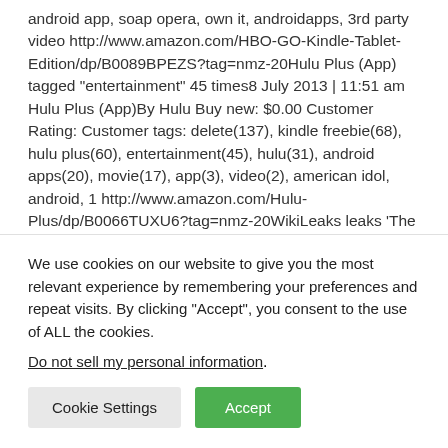android app, soap opera, own it, androidapps, 3rd party video http://www.amazon.com/HBO-GO-Kindle-Tablet-Edition/dp/B0089BPEZS?tag=nmz-20Hulu Plus (App) tagged "entertainment" 45 times8 July 2013 | 11:51 am Hulu Plus (App)By Hulu Buy new: $0.00 Customer Rating: Customer tags: delete(137), kindle freebie(68), hulu plus(60), entertainment(45), hulu(31), android apps(20), movie(17), app(3), video(2), american idol, android, 1 http://www.amazon.com/Hulu-Plus/dp/B0066TUXU6?tag=nmz-20WikiLeaks leaks 'The Fifth Estate' – Inside
We use cookies on our website to give you the most relevant experience by remembering your preferences and repeat visits. By clicking "Accept", you consent to the use of ALL the cookies.
Do not sell my personal information.